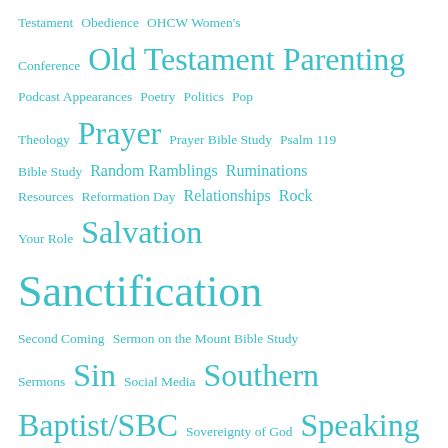Testament Obedience OHCW Women's Conference Old Testament Parenting Podcast Appearances Poetry Politics Pop Theology Prayer Prayer Bible Study Psalm 119 Bible Study Random Ramblings Ruminations Resources Reformation Day Relationships Rock Your Role Salvation Sanctification Second Coming Sermon on the Mount Bible Study Sermons Sin Social Media Southern Baptist/SBC Sovereignty of God Speaking Engagements Special Events Suffering Sunday School Television Testimony Tuesday Thanks/Thanksgiving The Ten (10 Commandments Bible Study) Throwback